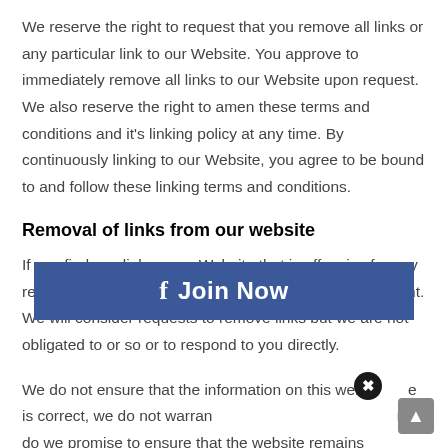We reserve the right to request that you remove all links or any particular link to our Website. You approve to immediately remove all links to our Website upon request. We also reserve the right to amen these terms and conditions and it's linking policy at any time. By continuously linking to our Website, you agree to be bound to and follow these linking terms and conditions.
Removal of links from our website
If you find any link on our Website that is offensive for any reason, you are free to contact and inform us any moment. We will consider requests to remove links but we are not obligated to or so or to respond to you directly.
We do not ensure that the information on this website is correct, we do not warrant its completeness or accuracy; nor do we promise to ensure that the website remains available or that the
[Figure (other): Facebook 'Join Now' promotional banner overlay with close button (X)]